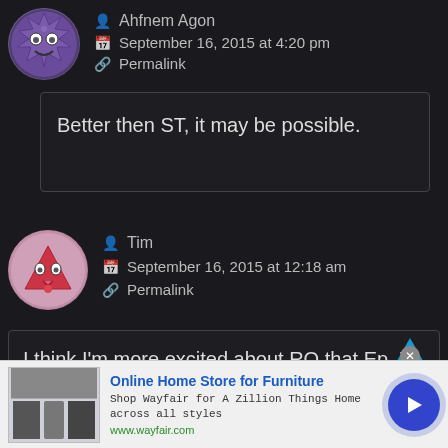[Figure (illustration): Purple spiky avatar with face icon in circular frame]
Ahfnem Agon
September 16, 2015 at 4:20 pm
Permalink
Better then ST, it may be possible.
[Figure (illustration): Pink/red triangular character avatar in circular frame]
Tim
September 16, 2015 at 12:18 am
Permalink
I think I'm more excited about RO that Ep. 7, which I fear is turning out to look pretty silly. I guess we'll see. I have hope that it's not just
[Figure (screenshot): Online advertisement for Wayfair Online Home Store for Furniture with appliance image and navigation button]